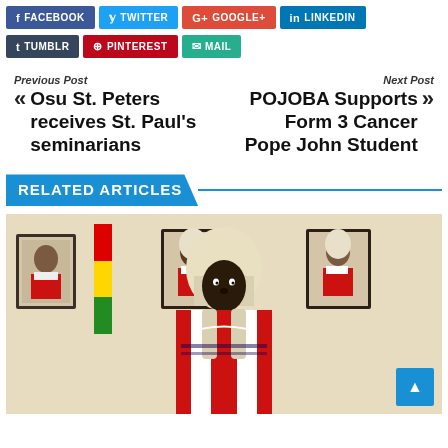[Figure (screenshot): Social media share buttons: Facebook, Twitter, Google+, LinkedIn, Tumblr, Pinterest, Mail]
Previous Post
« Osu St. Peters receives St. Paul's seminarians
Next Post
POJOBA Supports Form 3 Cancer Pope John Student »
RELATED ARTICLES
[Figure (photo): A judge or court official wearing traditional legal robes and a white barrister wig, standing in front of framed portraits on the wall with a Ghana flag visible]